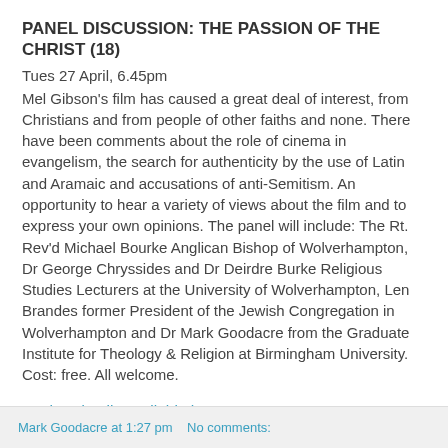PANEL DISCUSSION: THE PASSION OF THE CHRIST (18)
Tues 27 April, 6.45pm
Mel Gibson's film has caused a great deal of interest, from Christians and from people of other faiths and none. There have been comments about the role of cinema in evangelism, the search for authenticity by the use of Latin and Aramaic and accusations of anti-Semitism. An opportunity to hear a variety of views about the film and to express your own opinions. The panel will include: The Rt. Rev'd Michael Bourke Anglican Bishop of Wolverhampton, Dr George Chryssides and Dr Deirdre Burke Religious Studies Lecturers at the University of Wolverhampton, Len Brandes former President of the Jewish Congregation in Wolverhampton and Dr Mark Goodacre from the Graduate Institute for Theology & Religion at Birmingham University. Cost: free. All welcome.
Further details available here.
Mark Goodacre at 1:27 pm    No comments: